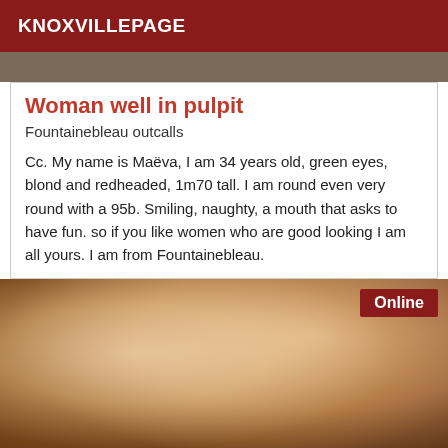KNOXVILLEPAGE
[Figure (photo): Partial photo strip at top of page]
Woman well in pulpit
Fountainebleau outcalls
Cc. My name is Maëva, I am 34 years old, green eyes, blond and redheaded, 1m70 tall. I am round even very round with a 95b. Smiling, naughty, a mouth that asks to have fun. so if you like women who are good looking I am all yours. I am from Fountainebleau.
[Figure (photo): Photo showing woman wearing dark top, online badge in top right corner]